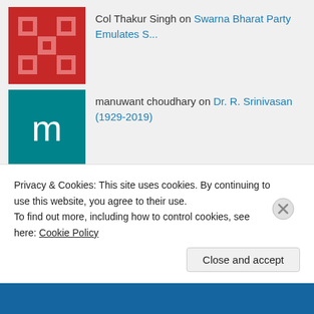Col Thakur Singh on Swarna Bharat Party Emulates S...
manuwant choudhary on Dr. R. Srinivasan (1929-2019)
Minoo on Dr. R. Srinivasan (1929-2019)
gr8yodhha on Dr. R. Srinivasan (1929-2019)
sabhlok on Dr. R. Srinivasan (1929-2019)
ARCHIVES
Privacy & Cookies: This site uses cookies. By continuing to use this website, you agree to their use.
To find out more, including how to control cookies, see here: Cookie Policy
Close and accept